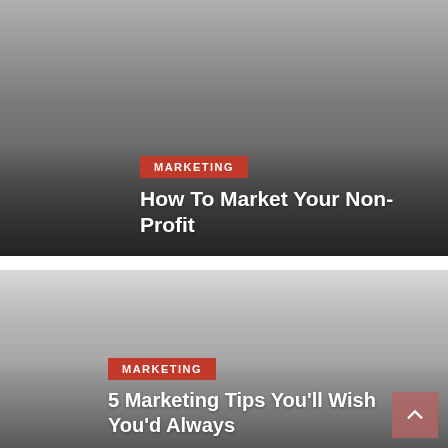[Figure (photo): Article card with dark gradient overlay. Red 'MARKETING' badge and title 'How To Market Your Non-Profit' over a grey-to-dark gradient background image.]
[Figure (photo): Article card with light-to-medium grey gradient. Red 'MARKETING' badge and partial title '5 Marketing Tips You'll Wish You'd Always...' with a scroll-to-top button in the lower right corner.]